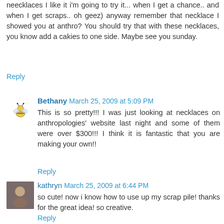neecklaces I like it i'm going to try it... when I get a chance.. and when I get scraps.. oh geez) anyway remember that necklace I showed you at anthro? You should try that with these necklaces, you know add a cakies to one side. Maybe see you sunday.
Reply
Bethany  March 25, 2009 at 5:09 PM
This is so pretty!!! I was just looking at necklaces on anthropologies' website last night and some of them were over $300!!! I think it is fantastic that you are making your own!!
Reply
kathryn  March 25, 2009 at 6:44 PM
so cute! now i know how to use up my scrap pile! thanks for the great idea! so creative.
Reply